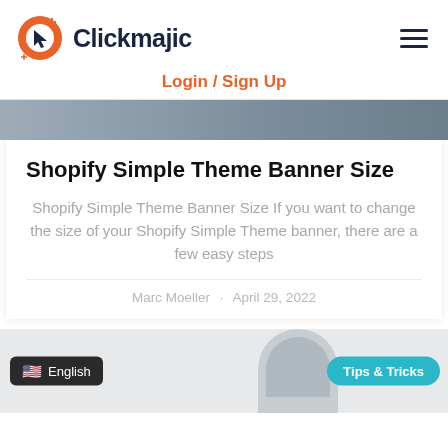[Figure (logo): Clickmajic logo with orange circular icon and dark blue brand name]
Login / Sign Up
[Figure (photo): Partial photo of a person in a blue shirt, top strip]
Shopify Simple Theme Banner Size
Shopify Simple Theme Banner Size If you want to change the size of your Shopify Simple Theme banner, there are a few easy steps
Marc Moeller · April 29, 2022
[Figure (photo): Bottom card partial photo with Tips & Tricks badge and English language selector]